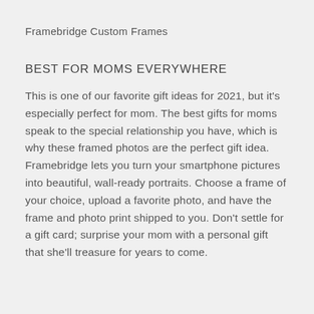Framebridge Custom Frames
BEST FOR MOMS EVERYWHERE
This is one of our favorite gift ideas for 2021, but it's especially perfect for mom. The best gifts for moms speak to the special relationship you have, which is why these framed photos are the perfect gift idea. Framebridge lets you turn your smartphone pictures into beautiful, wall-ready portraits. Choose a frame of your choice, upload a favorite photo, and have the frame and photo print shipped to you. Don't settle for a gift card; surprise your mom with a personal gift that she'll treasure for years to come.